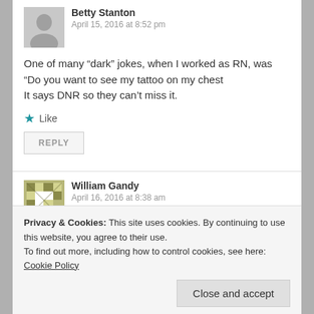[Figure (illustration): Grey silhouette avatar for Betty Stanton comment]
Betty Stanton
April 15, 2016 at 8:52 pm
One of many “dark” jokes, when I worked as RN, was “Do you want to see my tattoo on my chest
It says DNR so they can’t miss it.
★ Like
REPLY
[Figure (illustration): Mosaic/geometric pattern avatar for William Gandy comment]
William Gandy
April 16, 2016 at 8:38 am
Privacy & Cookies: This site uses cookies. By continuing to use this website, you agree to their use.
To find out more, including how to control cookies, see here: Cookie Policy
Close and accept